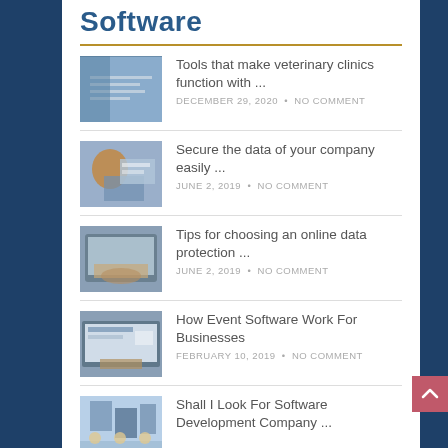Software
Tools that make veterinary clinics function with ...
DECEMBER 29, 2020 • NO COMMENT
Secure the data of your company easily ...
JUNE 2, 2019 • NO COMMENT
Tips for choosing an online data protection ...
JUNE 2, 2019 • NO COMMENT
How Event Software Work For Businesses
FEBRUARY 10, 2019 • NO COMMENT
Shall I Look For Software Development Company ...